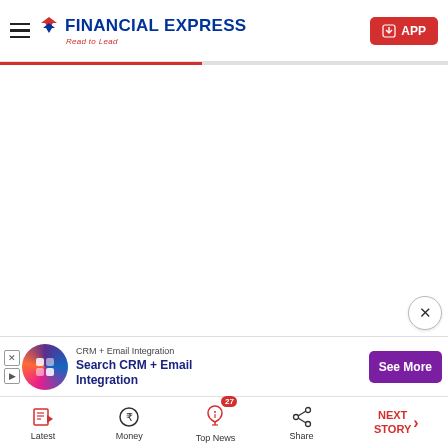Financial Express — Read to Lead
[Figure (screenshot): Main content area — blank white space (article content not loaded)]
[Figure (other): CRM + Email Integration advertisement banner with logo, text 'Search CRM + Email Integration' and 'See More' button]
Latest | Money | Top News (27) | Share | NEXT STORY